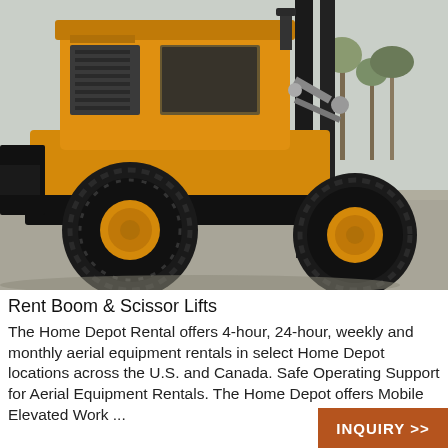[Figure (photo): Close-up photograph of a yellow/orange rough-terrain forklift with large black tires and orange rims, parked outdoors on a concrete surface. The forklift cab and mast/forks are visible. Background shows bare trees and sky.]
Rent Boom & Scissor Lifts
The Home Depot Rental offers 4-hour, 24-hour, weekly and monthly aerial equipment rentals in select Home Depot locations across the U.S. and Canada. Safe Operating Support for Aerial Equipment Rentals. The Home Depot offers Mobile Elevated Work ...